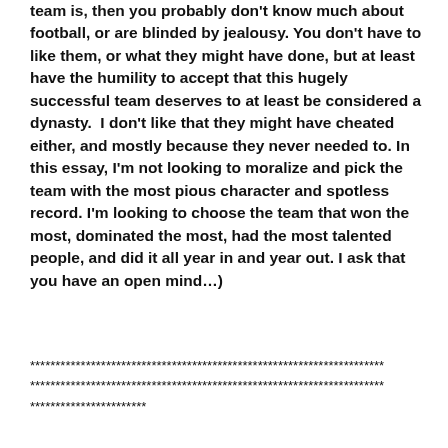team is, then you probably don't know much about football, or are blinded by jealousy. You don't have to like them, or what they might have done, but at least have the humility to accept that this hugely successful team deserves to at least be considered a dynasty.  I don't like that they might have cheated either, and mostly because they never needed to. In this essay, I'm not looking to moralize and pick the team with the most pious character and spotless record. I'm looking to choose the team that won the most, dominated the most, had the most talented people, and did it all year in and year out. I ask that you have an open mind…)
**********************************************************************
**********************************************************************
***********************